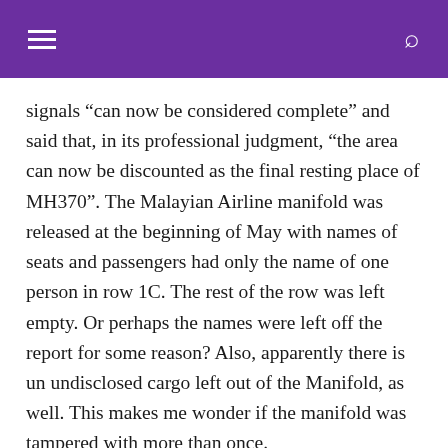[hamburger menu] [search icon]
signals “can now be considered complete” and said that, in its professional judgment, “the area can now be discounted as the final resting place of MH370”. The Malayian Airline manifold was released at the beginning of May with names of seats and passengers had only the name of one person in row 1C. The rest of the row was left empty. Or perhaps the names were left off the report for some reason? Also, apparently there is un undisclosed cargo left out of the Manifold, as well. This makes me wonder if the manifold was tampered with more than once.
Was the jet was actually taken somewhere and is not at the bottom of the sea? What if it was